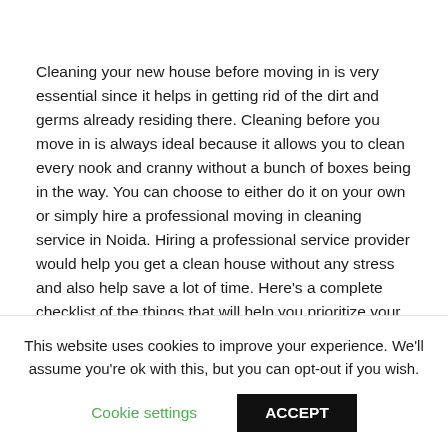Cleaning your new house before moving in is very essential since it helps in getting rid of the dirt and germs already residing there. Cleaning before you move in is always ideal because it allows you to clean every nook and cranny without a bunch of boxes being in the way. You can choose to either do it on your own or simply hire a professional moving in cleaning service in Noida. Hiring a professional service provider would help you get a clean house without any stress and also help save a lot of time. Here's a complete checklist of the things that will help you prioritize your cleaning process, so when move-in day arrives, you can actually focus on
This website uses cookies to improve your experience. We'll assume you're ok with this, but you can opt-out if you wish.
Cookie settings | ACCEPT